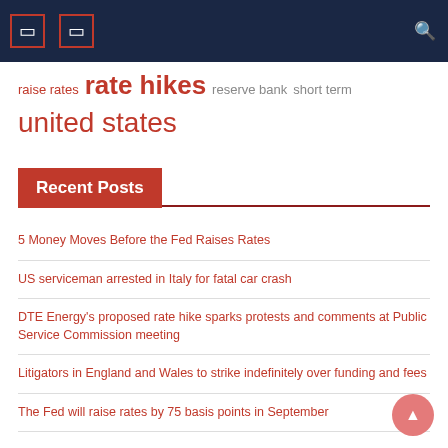[navigation bar with icons and search]
raise rates rate hikes   reserve bank   short term
united states
Recent Posts
5 Money Moves Before the Fed Raises Rates
US serviceman arrested in Italy for fatal car crash
DTE Energy's proposed rate hike sparks protests and comments at Public Service Commission meeting
Litigators in England and Wales to strike indefinitely over funding and fees
The Fed will raise rates by 75 basis points in September